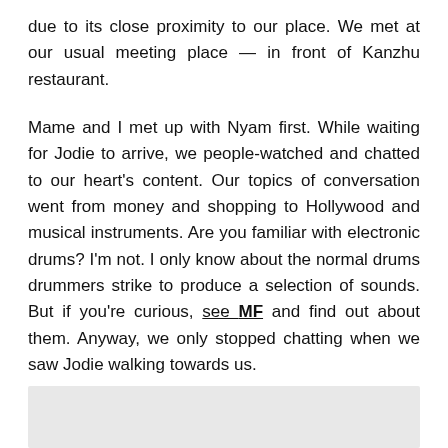due to its close proximity to our place. We met at our usual meeting place — in front of Kanzhu restaurant.
Mame and I met up with Nyam first. While waiting for Jodie to arrive, we people-watched and chatted to our heart's content. Our topics of conversation went from money and shopping to Hollywood and musical instruments. Are you familiar with electronic drums? I'm not. I only know about the normal drums drummers strike to produce a selection of sounds. But if you're curious, see MF and find out about them. Anyway, we only stopped chatting when we saw Jodie walking towards us.
Continue reading